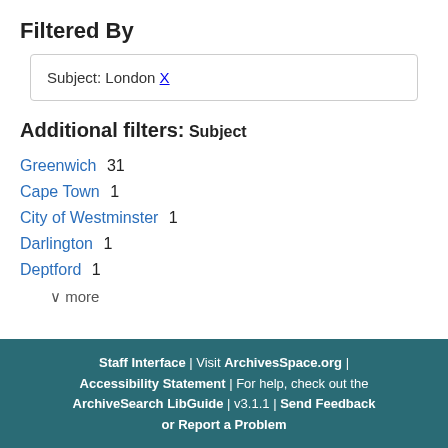Filtered By
Subject: London X
Additional filters:
Subject
Greenwich  31
Cape Town  1
City of Westminster  1
Darlington  1
Deptford  1
∨ more
Staff Interface | Visit ArchivesSpace.org | Accessibility Statement | For help, check out the ArchiveSearch LibGuide | v3.1.1 | Send Feedback or Report a Problem